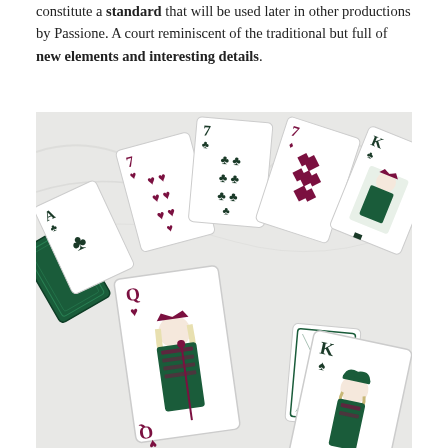constitute a standard that will be used later in other productions by Passione. A court reminiscent of the traditional but full of new elements and interesting details.
[Figure (photo): Photograph of multiple playing cards spread on a light marble surface. Cards include an Ace of clubs, 7 of hearts, 7 of clubs, 7 of diamonds, King of clubs partially visible, Queen of hearts (full court card visible with decorative green and maroon design), a card back with ornate pattern, and partial King of spades. Cards feature maroon and dark green colors on white backgrounds with detailed illustrated court figures.]